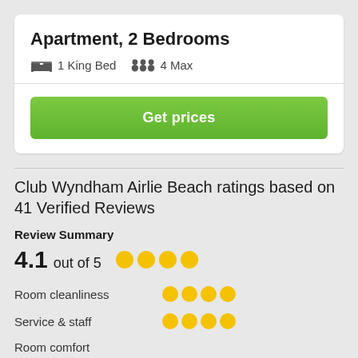Apartment, 2 Bedrooms
1 King Bed   4 Max
Get prices
Club Wyndham Airlie Beach ratings based on 41 Verified Reviews
Review Summary
4.1 out of 5
Room cleanliness
Service & staff
Room comfort